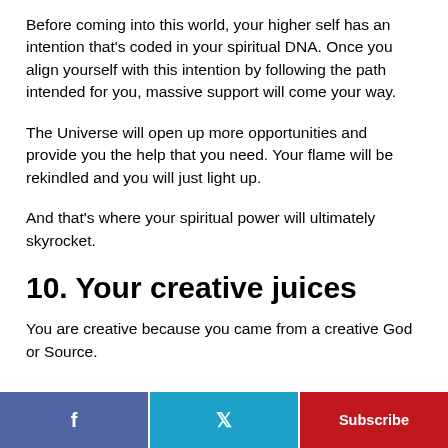Before coming into this world, your higher self has an intention that's coded in your spiritual DNA. Once you align yourself with this intention by following the path intended for you, massive support will come your way.
The Universe will open up more opportunities and provide you the help that you need. Your flame will be rekindled and you will just light up.
And that's where your spiritual power will ultimately skyrocket.
10. Your creative juices
You are creative because you came from a creative God or Source.